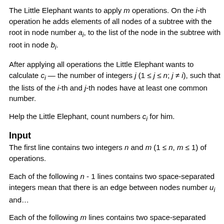The Little Elephant wants to apply m operations. On the i-th operation he adds elements of all nodes of a subtree with the root in node number a_i, to the list of the node in the subtree with root in node b_i.
After applying all operations the Little Elephant wants to calculate c_i — the number of integers j (1 ≤ j ≤ n; j ≠ i), such that the lists of the i-th and j-th nodes have at least one common number.
Help the Little Elephant, count numbers c_i for him.
Input
The first line contains two integers n and m (1 ≤ n, m ≤ ...) — the number of nodes and the number of operations.
Each of the following n - 1 lines contains two space-separated integers u_i and ... mean that there is an edge between nodes number u_i and ...
Each of the following m lines contains two space-separated integers ... stand for the indexes of the nodes in the i-th operation.